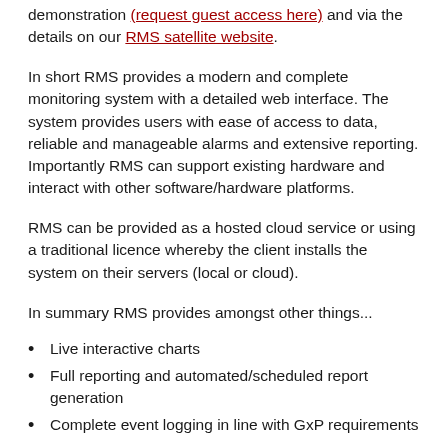demonstration (request guest access here) and via the details on our RMS satellite website.
In short RMS provides a modern and complete monitoring system with a detailed web interface. The system provides users with ease of access to data, reliable and manageable alarms and extensive reporting. Importantly RMS can support existing hardware and interact with other software/hardware platforms.
RMS can be provided as a hosted cloud service or using a traditional licence whereby the client installs the system on their servers (local or cloud).
In summary RMS provides amongst other things...
Live interactive charts
Full reporting and automated/scheduled report generation
Complete event logging in line with GxP requirements